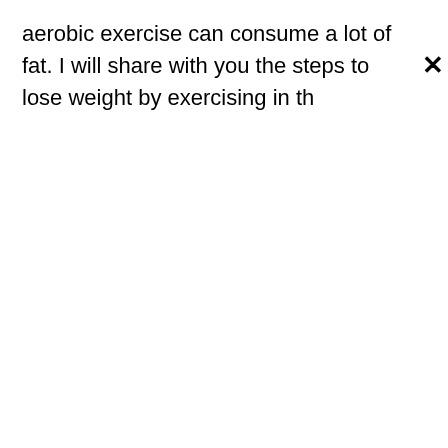aerobic exercise can consume a lot of fat. I will share with you the steps to lose weight by exercising in th
✕